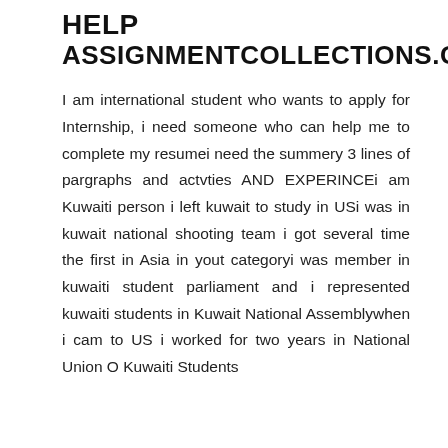HELP ASSIGNMENTCOLLECTIONS.COM
I am international student who wants to apply for Internship, i need someone who can help me to complete my resumei need the summery 3 lines of pargraphs and actvties AND EXPERINCEi am Kuwaiti person i left kuwait to study in USi was in kuwait national shooting team i got several time the first in Asia in yout categoryi was member in kuwaiti student parliament and i represented kuwaiti students in Kuwait National Assemblywhen i cam to US i worked for two years in National Union O Kuwaiti Students